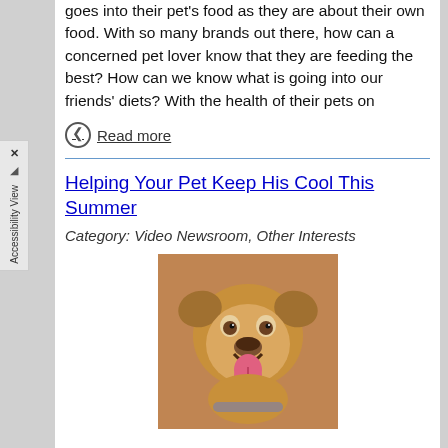goes into their pet's food as they are about their own food. With so many brands out there, how can a concerned pet lover know that they are feeding the best? How can we know what is going into our friends' diets? With the health of their pets on
Read more
Helping Your Pet Keep His Cool This Summer
Category: Video Newsroom, Other Interests
[Figure (photo): A brown/tan dog with mouth open and tongue out, facing the camera, appearing happy]
Hot dogs may be a popular summertime treat for baseball fans and backyard cookouts, but allowing our canine friends to overheat is a potential fatal disaster! Keeping our pets cool as the temperatures heat up doesn't have to be a challenge if you keep